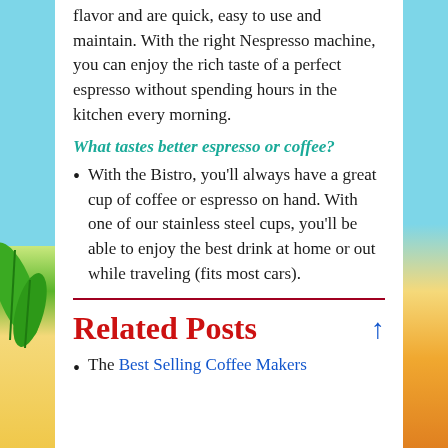flavor and are quick, easy to use and maintain. With the right Nespresso machine, you can enjoy the rich taste of a perfect espresso without spending hours in the kitchen every morning.
What tastes better espresso or coffee?
With the Bistro, you'll always have a great cup of coffee or espresso on hand. With one of our stainless steel cups, you'll be able to enjoy the best drink at home or out while traveling (fits most cars).
Related Posts
The Best Selling Coffee Makers